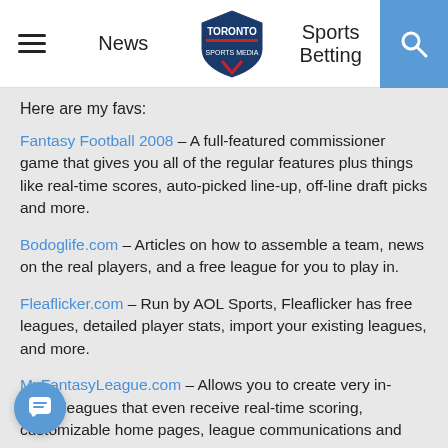News | Toronto Sports Media | Sports Betting
Here are my favs:
Fantasy Football 2008 – A full-featured commissioner game that gives you all of the regular features plus things like real-time scores, auto-picked line-up, off-line draft picks and more.
Bodoglife.com – Articles on how to assemble a team, news on the real players, and a free league for you to play in.
Fleaflicker.com – Run by AOL Sports, Fleaflicker has free leagues, detailed player stats, import your existing leagues, and more.
MyFantasyLeague.com – Allows you to create very in-depth leagues that even receive real-time scoring, customizable home pages, league communications and